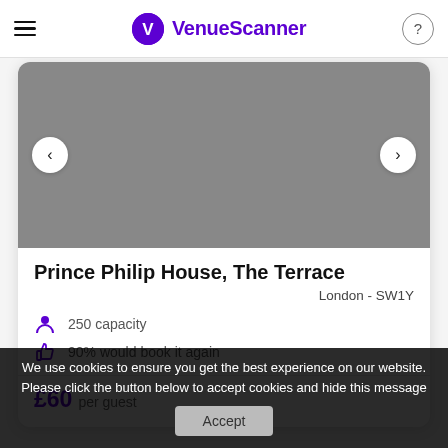VenueScanner
[Figure (photo): Venue image placeholder (grey rectangle) with left and right navigation arrows for an image carousel]
Prince Philip House, The Terrace
London - SW1Y
250 capacity
90% would book it again
£60 per guest
We use cookies to ensure you get the best experience on our website. Please click the button below to accept cookies and hide this message